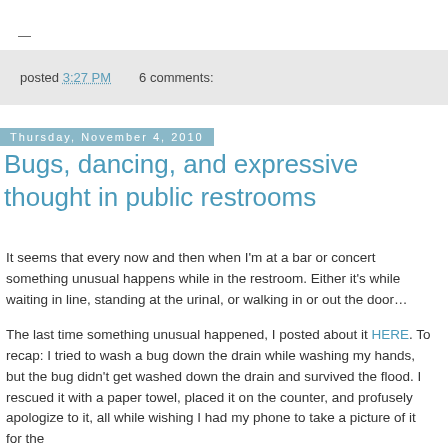—
posted 3:27 PM    6 comments:
Thursday, November 4, 2010
Bugs, dancing, and expressive thought in public restrooms
It seems that every now and then when I'm at a bar or concert something unusual happens while in the restroom. Either it's while waiting in line, standing at the urinal, or walking in or out the door…
The last time something unusual happened, I posted about it HERE. To recap: I tried to wash a bug down the drain while washing my hands, but the bug didn't get washed down the drain and survived the flood. I rescued it with a paper towel, placed it on the counter, and profusely apologize to it, all while wishing I had my phone to take a picture of it for the